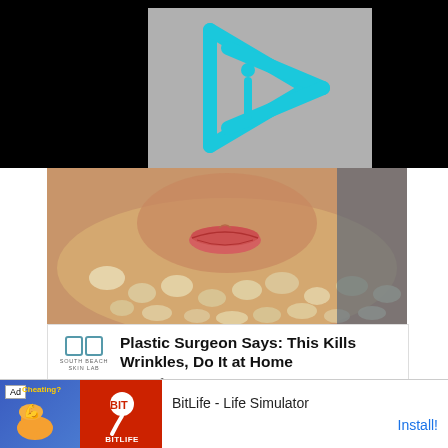[Figure (logo): Cyan/teal play button logo with stylized 'i' figure inside, on gray background, set against black bar at top]
[Figure (photo): Close-up photo of a face with oatmeal/grain scrub mask covering lower portion, lips visible in center]
[Figure (infographic): Advertisement card: South Beach Skin Lab logo on left, bold headline text on right reading 'Plastic Surgeon Says: This Kills Wrinkles, Do It at Home', sponsored by SouthBeachSkinLab]
I love the description of Carr’s work on her website where it says:
[Figure (screenshot): Mobile ad banner for BitLife - Life Simulator app with 'Cheating?' promo graphic on left (blue/orange background), BitLife red logo in center, app name and Install button on right]